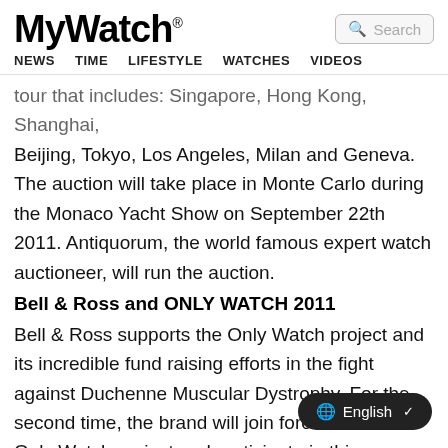MyWatch
Search
NEWS  TIME  LIFESTYLE  WATCHES  VIDEOS
tour that includes: Singapore, Hong Kong, Shanghai, Beijing, Tokyo, Los Angeles, Milan and Geneva. The auction will take place in Monte Carlo during the Monaco Yacht Show on September 22th 2011. Antiquorum, the world famous expert watch auctioneer, will run the auction.
Bell & Ross and ONLY WATCH 2011
Bell & Ross supports the Only Watch project and its incredible fund raising efforts in the fight against Duchenne Muscular Dystrophy. For the second time, the brand will join forces with the Only Watch project and participate in this extraordinary endeavor to help children suffering from this disease. Our commitment